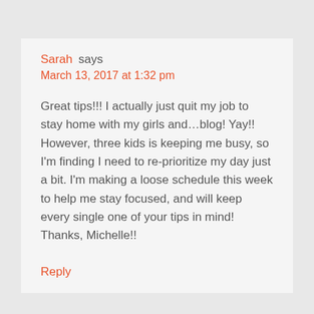Sarah says
March 13, 2017 at 1:32 pm
Great tips!!! I actually just quit my job to stay home with my girls and…blog! Yay!! However, three kids is keeping me busy, so I'm finding I need to re-prioritize my day just a bit. I'm making a loose schedule this week to help me stay focused, and will keep every single one of your tips in mind! Thanks, Michelle!!
Reply